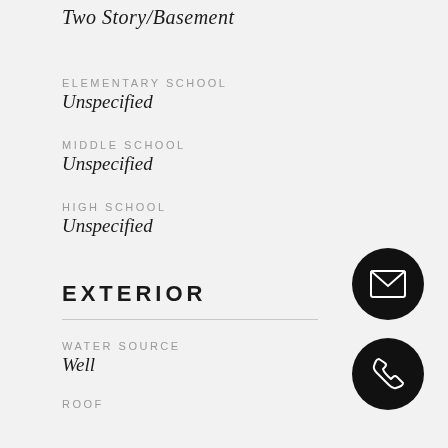Two Story/Basement
ELEMENTARY SCHOOL
Unspecified
MIDDLE SCHOOL
Unspecified
HIGH SCHOOL
Unspecified
EXTERIOR
WATER SOURCE
Well
ROOF